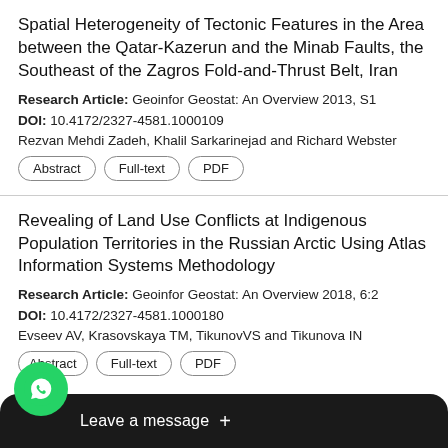Spatial Heterogeneity of Tectonic Features in the Area between the Qatar-Kazerun and the Minab Faults, the Southeast of the Zagros Fold-and-Thrust Belt, Iran
Research Article: Geoinfor Geostat: An Overview 2013, S1
DOI: 10.4172/2327-4581.1000109
Rezvan Mehdi Zadeh, Khalil Sarkarinejad and Richard Webster
Abstract
Full-text
PDF
Revealing of Land Use Conflicts at Indigenous Population Territories in the Russian Arctic Using Atlas Information Systems Methodology
Research Article: Geoinfor Geostat: An Overview 2018, 6:2
DOI: 10.4172/2327-4581.1000180
Evseev AV, Krasovskaya TM, TikunovVS and Tikunova IN
Abstract
Full-text
PDF
Sta
Leave a message +
ochemical Data from Gbo